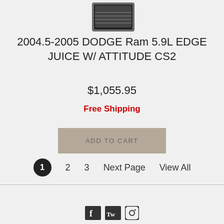[Figure (photo): Partial product image at top of page, cropped circle showing electronic device]
2004.5-2005 DODGE Ram 5.9L EDGE JUICE W/ ATTITUDE CS2
$1,055.95
Free Shipping
ADD TO CART
1  2  3  Next Page  View All
Social media icons (Facebook, Twitter, Instagram)